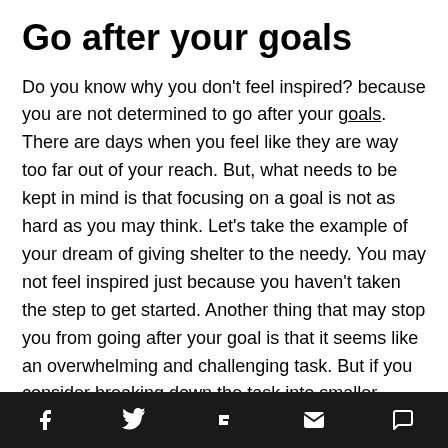Go after your goals
Do you know why you don't feel inspired? because you are not determined to go after your goals. There are days when you feel like they are way too far out of your reach. But, what needs to be kept in mind is that focusing on a goal is not as hard as you may think. Let's take the example of your dream of giving shelter to the needy. You may not feel inspired just because you haven't taken the step to get started. Another thing that may stop you from going after your goal is that it seems like an overwhelming and challenging task. But if you consider breaking down the task into smaller chunks and tell yourself, “I need to come up with the name of the project at any cost,” then it is likely to become manageable. Once you get started with the task, you will end up feeling more
social share icons: Facebook, Twitter, Flipboard, Email, Comment